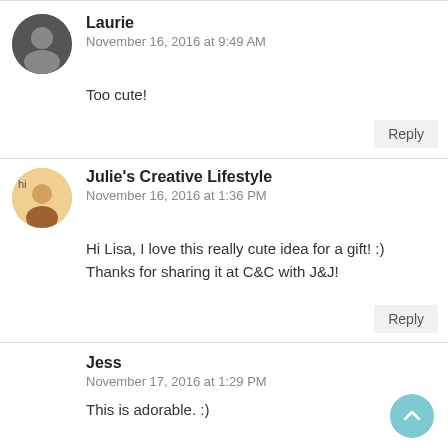Laurie
November 16, 2016 at 9:49 AM
Too cute!
Reply
Julie's Creative Lifestyle
November 16, 2016 at 1:36 PM
Hi Lisa, I love this really cute idea for a gift! :)
Thanks for sharing it at C&C with J&J!
Reply
Jess
November 17, 2016 at 1:29 PM
This is adorable. :)